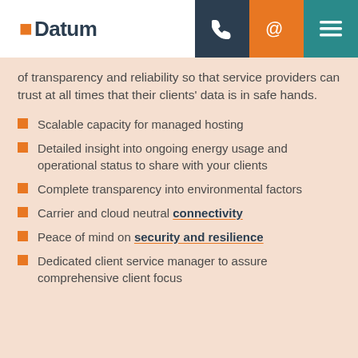Datum
of transparency and reliability so that service providers can trust at all times that their clients' data is in safe hands.
Scalable capacity for managed hosting
Detailed insight into ongoing energy usage and operational status to share with your clients
Complete transparency into environmental factors
Carrier and cloud neutral connectivity
Peace of mind on security and resilience
Dedicated client service manager to assure comprehensive client focus